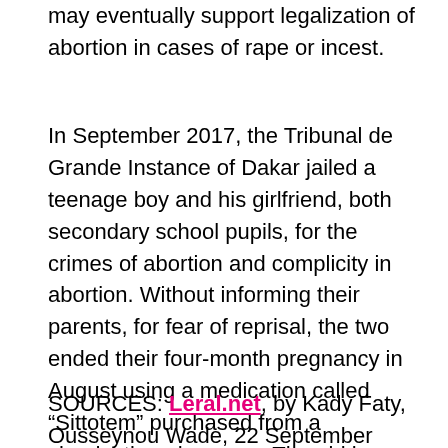may eventually support legalization of abortion in cases of rape or incest.
In September 2017, the Tribunal de Grande Instance of Dakar jailed a teenage boy and his girlfriend, both secondary school pupils, for the crimes of abortion and complicity in abortion. Without informing their parents, for fear of reprisal, the two ended their four-month pregnancy in August using a medication called “Sittotem” purchased from a clandestine pharmacy. The girl began to bleed heavily and was taken to hospital. In court, their lawyers asked for clemency so that they could continue in school. They were convicted, however, and given a month in prison each.
SOURCES: Leral.net, by Kady Faty, Ousseynou Wade, 22 September 2017 ; New Yorker, by Allyn